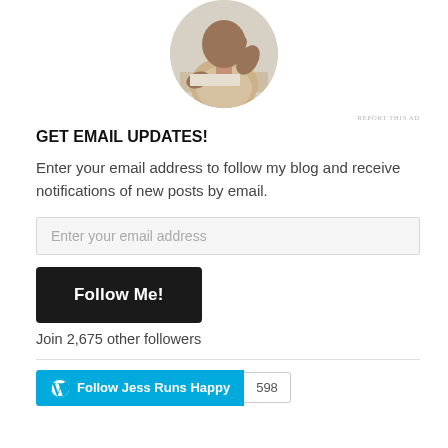[Figure (photo): Circular cropped photo of a person sitting at a desk, appearing to write or work, wearing a beige shirt. Shown partially at top of page.]
REPORT THIS AD
GET EMAIL UPDATES!
Enter your email address to follow my blog and receive notifications of new posts by email.
Enter your email address
Follow Me!
Join 2,675 other followers
Follow Jess Runs Happy   598